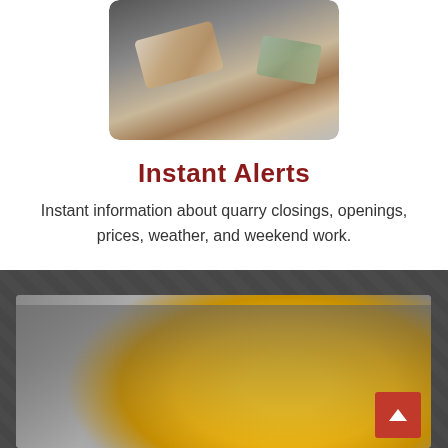[Figure (photo): Person holding a smartphone, hands visible against a blurred background]
Instant Alerts
Instant information about quarry closings, openings, prices, weather, and weekend work.
[Figure (photo): Person in grey sweatshirt holding a yellow hard hat, close-up view]